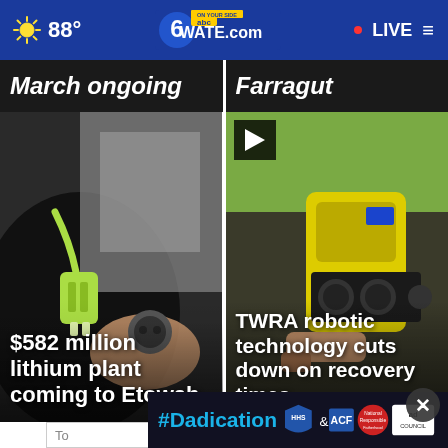88° WATE.com LIVE
March ongoing
Farragut
[Figure (photo): Electric vehicle charging plug being inserted into a car port]
$582 million lithium plant coming to Etowah
[Figure (photo): TWRA robotic underwater device with yellow casing and gauges]
TWRA robotic technology cuts down on recovery times
#Dadication ad banner with HHS ACF and Ad Council logos
To